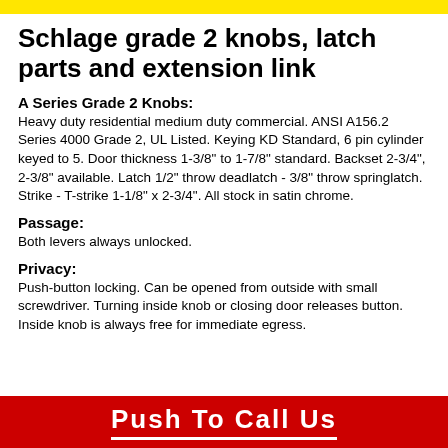Schlage grade 2 knobs, latch parts and extension link
A Series Grade 2 Knobs:
Heavy duty residential medium duty commercial. ANSI A156.2 Series 4000 Grade 2, UL Listed. Keying KD Standard, 6 pin cylinder keyed to 5. Door thickness 1-3/8" to 1-7/8" standard. Backset 2-3/4", 2-3/8" available. Latch 1/2" throw deadlatch - 3/8" throw springlatch. Strike - T-strike 1-1/8" x 2-3/4". All stock in satin chrome.
Passage:
Both levers always unlocked.
Privacy:
Push-button locking. Can be opened from outside with small screwdriver. Turning inside knob or closing door releases button. Inside knob is always free for immediate egress.
Push  To  Call  Us